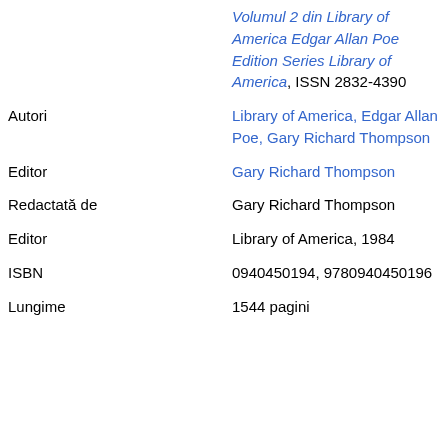| Label | Value |
| --- | --- |
|  | Volumul 2 din Library of America Edgar Allan Poe Edition Series Library of America, ISSN 2832-4390 |
| Autori | Library of America, Edgar Allan Poe, Gary Richard Thompson |
| Editor | Gary Richard Thompson |
| Redactată de | Gary Richard Thompson |
| Editor | Library of America, 1984 |
| ISBN | 0940450194, 9780940450196 |
| Lungime | 1544 pagini |